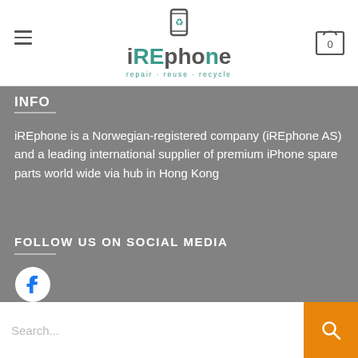[Figure (logo): iREphone logo with phone/recycle icon, tagline: repair · reuse · recycle]
INFO
iREphone is a Norwegian-registered company (iREphone AS) and a leading international supplier of premium iPhone spare parts world wide via hub in Hong Kong
FOLLOW US ON SOCIAL MEDIA
[Figure (illustration): Facebook social media icon (white F on dark circle)]
Search...